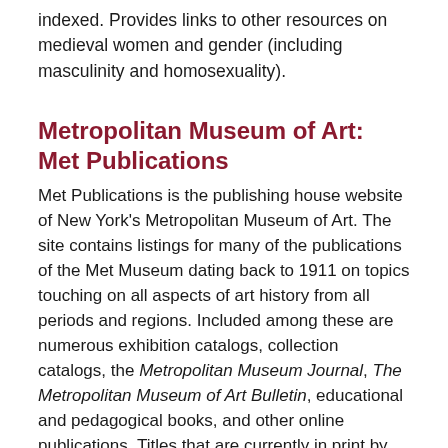indexed. Provides links to other resources on medieval women and gender (including masculinity and homosexuality).
Metropolitan Museum of Art: Met Publications
Met Publications is the publishing house website of New York's Metropolitan Museum of Art. The site contains listings for many of the publications of the Met Museum dating back to 1911 on topics touching on all aspects of art history from all periods and regions. Included among these are numerous exhibition catalogs, collection catalogs, the Metropolitan Museum Journal, The Metropolitan Museum of Art Bulletin, educational and pedagogical books, and other online publications. Titles that are currently in print by the Met are fully searchable, though one must purchase the books to see the entire text. For books that are out of print, the museum makes the fully text available online and for download for free.
The search function on the Met Publications site allows users